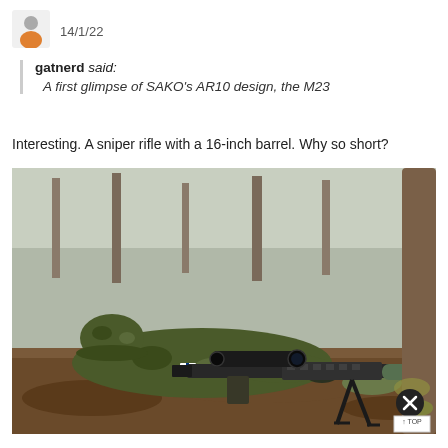[Figure (other): User avatar icon: grey circle head with orange torso on white background]
14/1/22
gatnerd said:
A first glimpse of SAKO's AR10 design, the M23
Interesting.  A sniper rifle with a 16-inch barrel.  Why so short?
[Figure (photo): A soldier in camouflage uniform and hat lies prone on the ground in a forest, aiming a sniper rifle with a scope and suppressor mounted on a bipod, near a tree. A Finnish flag patch is visible on the sleeve.]